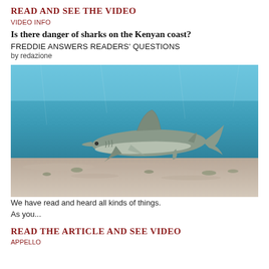READ AND SEE THE VIDEO
VIDEO INFO
Is there danger of sharks on the Kenyan coast?
FREDDIE ANSWERS READERS' QUESTIONS
by redazione
[Figure (photo): Underwater photograph of a shark swimming near the sandy ocean floor with blue water in the background, viewed from the side.]
We have read and heard all kinds of things. As you...
READ THE ARTICLE AND SEE VIDEO
APPELLO